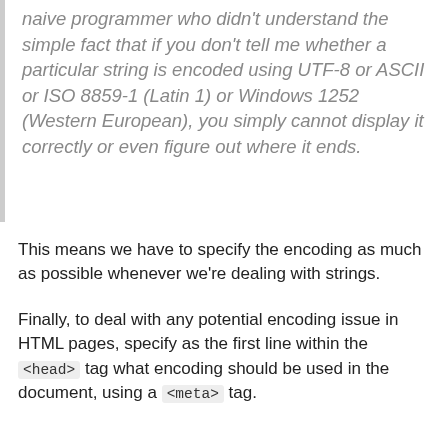naive programmer who didn't understand the simple fact that if you don't tell me whether a particular string is encoded using UTF-8 or ASCII or ISO 8859-1 (Latin 1) or Windows 1252 (Western European), you simply cannot display it correctly or even figure out where it ends.
This means we have to specify the encoding as much as possible whenever we're dealing with strings.
Finally, to deal with any potential encoding issue in HTML pages, specify as the first line within the <head> tag what encoding should be used in the document, using a <meta> tag.